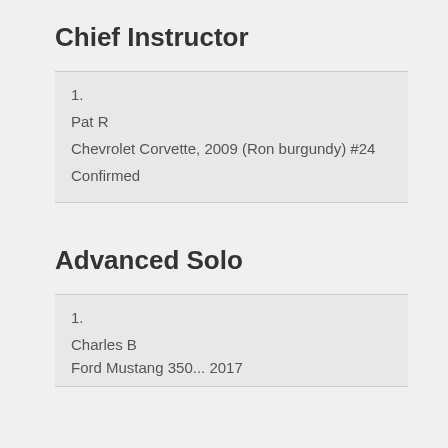Chief Instructor
1.
Pat R
Chevrolet Corvette, 2009 (Ron burgundy) #24
Confirmed
Advanced Solo
1.
Charles B
Ford Mustang...